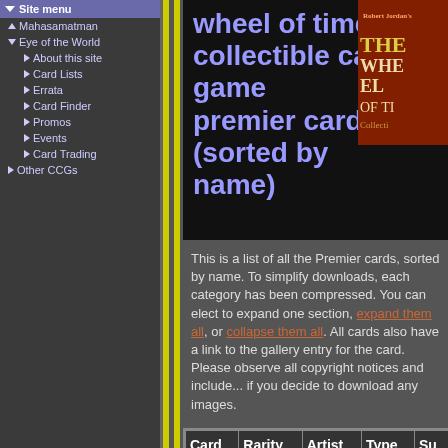Site menu
Mahasamatman
Eye of the World
About this site
Card Lists
Errata
Card Finder
Promos
Events
Card Trading
Other CCGs
wheel of time collectible card game premier cards (sorted by name)
This is a list of all the Premier cards, sorted by name. To simplify downloads, each category has been compressed. You can elect to expand one section, expand them all, or collapse them all. All cards also have a link to the gallery entry for the card. Please observe all copyright notices and include them if you decide to download any images.
| Card | Rarity | Artist | Type | Su... |
| --- | --- | --- | --- | --- |
| ▶ a (19) |  |  |  |  |